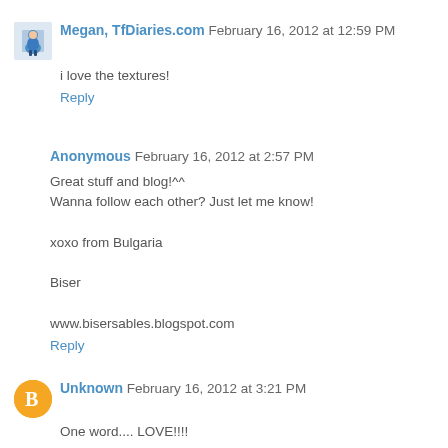Megan, TfDiaries.com  February 16, 2012 at 12:59 PM
i love the textures!
Reply
Anonymous  February 16, 2012 at 2:57 PM
Great stuff and blog!^^
Wanna follow each other? Just let me know!

xoxo from Bulgaria

Biser

www.bisersables.blogspot.com
Reply
Unknown  February 16, 2012 at 3:21 PM
One word.... LOVE!!!!